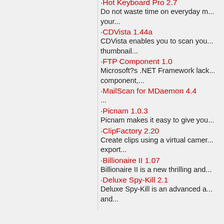·Hot Keyboard Pro 2.7
Do not waste time on everyday m... your...
·CDVista 1.44a
CDVista enables you to scan you... thumbnail...
·FTP Component 1.0
Microsoft?s .NET Framework lack... component,...
·MailScan for MDaemon 4.4
...
·Picnam 1.0.3
Picnam makes it easy to give you...
·ClipFactory 2.20
Create clips using a virtual camer... export...
·Billionaire II 1.07
Billionaire II is a new thrilling and...
·Deluxe Spy-Kill 2.1
Deluxe Spy-Kill is an advanced a... and...